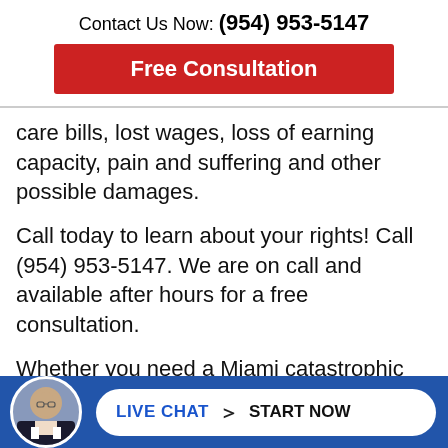Contact Us Now: (954) 953-5147
Free Consultation
care bills, lost wages, loss of earning capacity, pain and suffering and other possible damages.
Call today to learn about your rights! Call (954) 953-5147. We are on call and available after hours for a free consultation.
Whether you need a Miami catastrophic accident lawyer, Fort Lauderdale brain injury attorney, Claim for accident victim paralyzed in Orlando or need a catastrophic accident
LIVE CHAT  START NOW